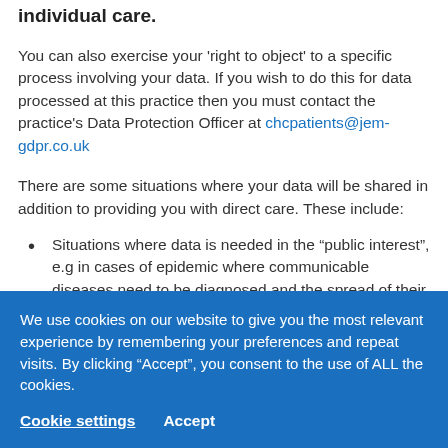individual care.
You can also exercise your ‘right to object’ to a specific process involving your data. If you wish to do this for data processed at this practice then you must contact the practice’s Data Protection Officer at chcpatients@jem-gdpr.co.uk
There are some situations where your data will be shared in addition to providing you with direct care. These include:
Situations where data is needed in the “public interest”, e.g in cases of epidemic where communicable diseases need to be diagnosed and the spread of their infection
We use cookies on our website to give you the most relevant experience by remembering your preferences and repeat visits. By clicking “Accept”, you consent to the use of ALL the cookies.
Cookie settings   Accept